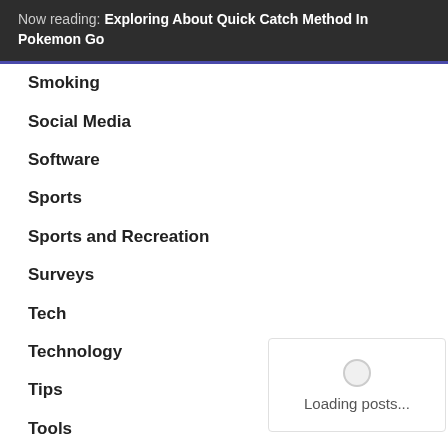Now reading: Exploring About Quick Catch Method In Pokemon Go
Smoking
Social Media
Software
Sports
Sports and Recreation
Surveys
Tech
Technology
Tips
Tools
Toys
Trading
Training
[Figure (screenshot): Loading spinner with text 'Loading posts...']